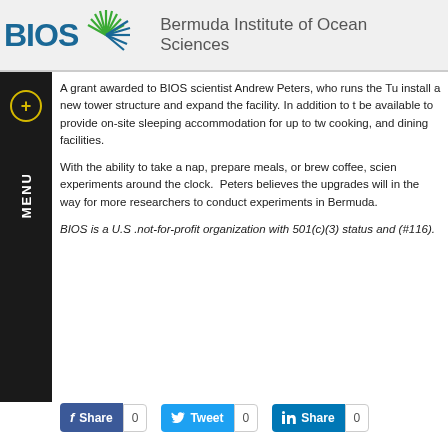BIOS | Bermuda Institute of Ocean Sciences
A grant awarded to BIOS scientist Andrew Peters, who runs the Tu install a new tower structure and expand the facility. In addition to t be available to provide on-site sleeping accommodation for up to tw cooking, and dining facilities.
With the ability to take a nap, prepare meals, or brew coffee, scien experiments around the clock. Peters believes the upgrades will in the way for more researchers to conduct experiments in Bermuda.
BIOS is a U.S .not-for-profit organization with 501(c)(3) status and (#116).
[Figure (screenshot): Social share buttons: Facebook Share (0), Twitter Tweet (0), LinkedIn Share (0)]